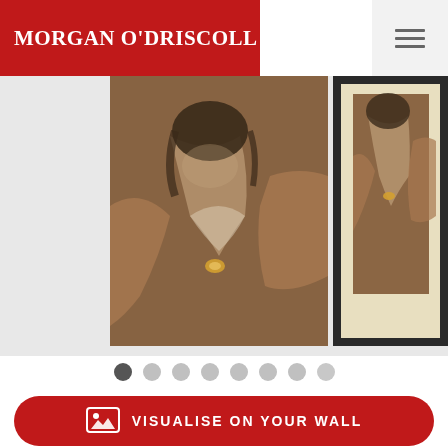MORGAN O'DRISCOLL
[Figure (photo): Pastel portrait artwork showing a figure with dark hair and a necklace, shown in main panel and partially in a second framed panel]
VISUALISE ON YOUR WALL
HAMMER PRICE: €2,300
LOT NUMBER: 80
ARTIST: SIR FREDERIC WILLIAM BURTON...